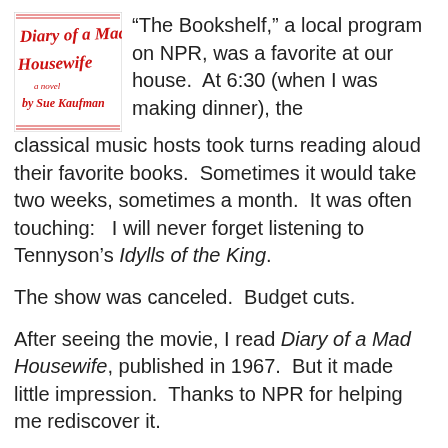[Figure (illustration): Book cover of 'Diary of a Mad Housewife, a novel by Sue Kaufman' with red handwritten-style text on white background]
“The Bookshelf,” a local program on NPR, was a favorite at our house. At 6:30 (when I was making dinner), the classical music hosts took turns reading aloud their favorite books. Sometimes it would take two weeks, sometimes a month. It was often touching: I will never forget listening to Tennyson’s Idylls of the King.
The show was canceled. Budget cuts.
After seeing the movie, I read Diary of a Mad Housewife, published in 1967. But it made little impression. Thanks to NPR for helping me rediscover it.